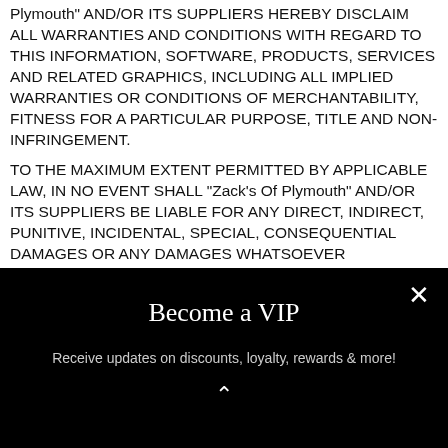Plymouth" AND/OR ITS SUPPLIERS HEREBY DISCLAIM ALL WARRANTIES AND CONDITIONS WITH REGARD TO THIS INFORMATION, SOFTWARE, PRODUCTS, SERVICES AND RELATED GRAPHICS, INCLUDING ALL IMPLIED WARRANTIES OR CONDITIONS OF MERCHANTABILITY, FITNESS FOR A PARTICULAR PURPOSE, TITLE AND NON-INFRINGEMENT.
TO THE MAXIMUM EXTENT PERMITTED BY APPLICABLE LAW, IN NO EVENT SHALL "Zack's Of Plymouth" AND/OR ITS SUPPLIERS BE LIABLE FOR ANY DIRECT, INDIRECT, PUNITIVE, INCIDENTAL, SPECIAL, CONSEQUENTIAL DAMAGES OR ANY DAMAGES WHATSOEVER INCLUDING, WITHOUT
Become a VIP
Receive updates on discounts, loyalty, rewards & more!